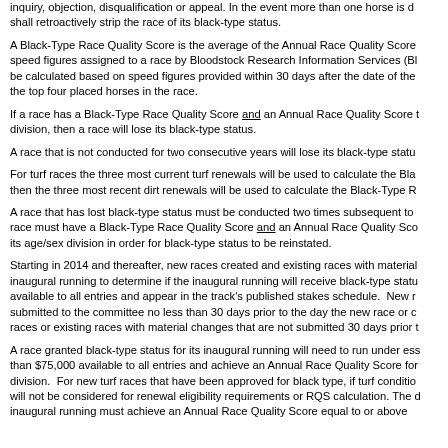inquiry, objection, disqualification or appeal. In the event more than one horse is d... shall retroactively strip the race of its black-type status.
A Black-Type Race Quality Score is the average of the Annual Race Quality Score... speed figures assigned to a race by Bloodstock Research Information Services (Bl... be calculated based on speed figures provided within 30 days after the date of the... the top four placed horses in the race.
If a race has a Black-Type Race Quality Score and an Annual Race Quality Score t... division, then a race will lose its black-type status.
A race that is not conducted for two consecutive years will lose its black-type statu...
For turf races the three most current turf renewals will be used to calculate the Bla... then the three most recent dirt renewals will be used to calculate the Black-Type R...
A race that has lost black-type status must be conducted two times subsequent to... race must have a Black-Type Race Quality Score and an Annual Race Quality Sco... its age/sex division in order for black-type status to be reinstated.
Starting in 2014 and thereafter, new races created and existing races with material... inaugural running to determine if the inaugural running will receive black-type statu... available to all entries and appear in the track's published stakes schedule. New r... submitted to the committee no less than 30 days prior to the day the new race or c... races or existing races with material changes that are not submitted 30 days prior t...
A race granted black-type status for its inaugural running will need to run under ess... than $75,000 available to all entries and achieve an Annual Race Quality Score for... division. For new turf races that have been approved for black type, if turf conditio... will not be considered for renewal eligibility requirements or RQS calculation. The d... inaugural running must achieve an Annual Race Quality Score equal to or above...